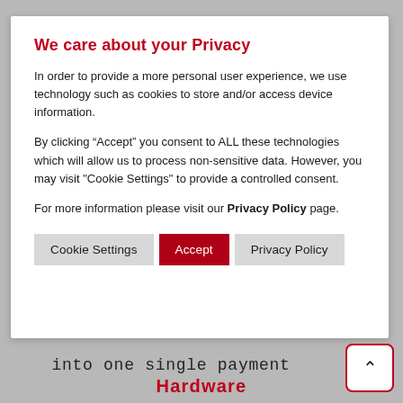We care about your Privacy
In order to provide a more personal user experience, we use technology such as cookies to store and/or access device information.
By clicking “Accept” you consent to ALL these technologies which will allow us to process non-sensitive data. However, you may visit "Cookie Settings" to provide a controlled consent.
For more information please visit our Privacy Policy page.
Cookie Settings | Accept | Privacy Policy
into one single payment
Hardware